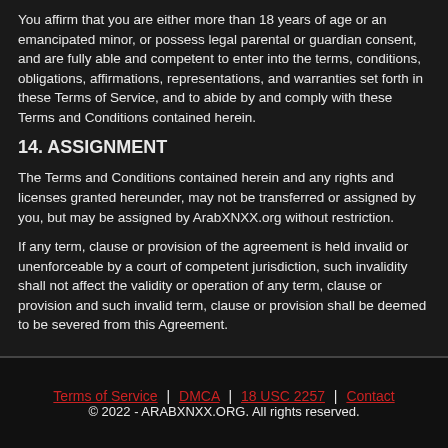You affirm that you are either more than 18 years of age or an emancipated minor, or possess legal parental or guardian consent, and are fully able and competent to enter into the terms, conditions, obligations, affirmations, representations, and warranties set forth in these Terms of Service, and to abide by and comply with these Terms and Conditions contained herein.
14. ASSIGNMENT
The Terms and Conditions contained herein and any rights and licenses granted hereunder, may not be transferred or assigned by you, but may be assigned by ArabXNXX.org without restriction.
If any term, clause or provision of the agreement is held invalid or unenforceable by a court of competent jurisdiction, such invalidity shall not affect the validity or operation of any term, clause or provision and such invalid term, clause or provision shall be deemed to be severed from this Agreement.
Terms of Service | DMCA | 18 USC 2257 | Contact
© 2022 - ARABXNXX.ORG. All rights reserved.